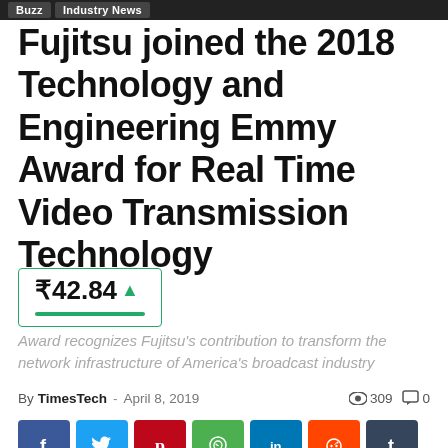Buzz | Industry News
Fujitsu joined the 2018 Technology and Engineering Emmy Award for Real Time Video Transmission Technology
₹42.84 ▲
Award recognizes Fujitsu's contribution to transform the network infrastructure of America's broadcast industry
By TimesTech - April 8, 2019   👁 309   💬 0
[Figure (other): Social media share buttons: Facebook, Twitter, Pinterest, WhatsApp, LinkedIn, Reddit, Tumblr]